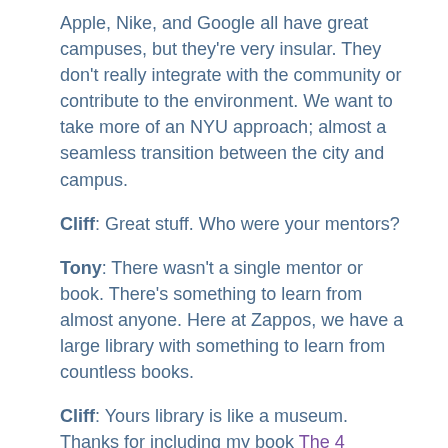Apple, Nike, and Google all have great campuses, but they're very insular. They don't really integrate with the community or contribute to the environment. We want to take more of an NYU approach; almost a seamless transition between the city and campus.
Cliff: Great stuff. Who were your mentors?
Tony: There wasn't a single mentor or book. There's something to learn from almost anyone. Here at Zappos, we have a large library with something to learn from countless books.
Cliff: Yours library is like a museum. Thanks for including my book The 4 Essentials of Entrepreneurial Thinking. From all you've learned, what are your biggest fears?